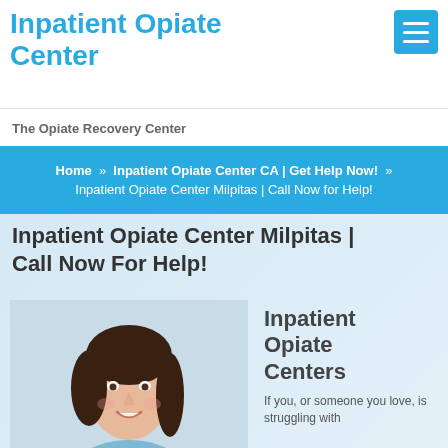Inpatient Opiate Center
The Opiate Recovery Center
Home » Inpatient Opiate Center CA | Get Help Now! » Inpatient Opiate Center Milpitas | Call Now for Help!
Inpatient Opiate Center Milpitas | Call Now For Help!
[Figure (photo): Smiling young woman with dark hair in a ponytail, wearing a light blue top, appearing to be a healthcare professional.]
Inpatient Opiate Centers
If you, or someone you love, is struggling with